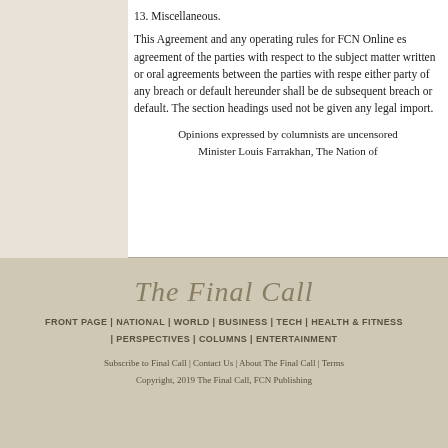13. Miscellaneous.
This Agreement and any operating rules for FCN Online es agreement of the parties with respect to the subject matter written or oral agreements between the parties with respe either party of any breach or default hereunder shall be de subsequent breach or default. The section headings used not be given any legal import.
Opinions expressed by columnists are uncensored Minister Louis Farrakhan, The Nation of
[Figure (logo): The Final Call newspaper logo in ornate italic script]
FRONT PAGE | NATIONAL | WORLD | BUSINESS | TECH | HEALTH & FITNESS | PERSPECTIVES | COLUMNS | ENTERTAINMENT
Subscribe to Final Call | Contact Us | About The Final Call | Terms
Copyright, 2019 The Final Call, FCN Publishing